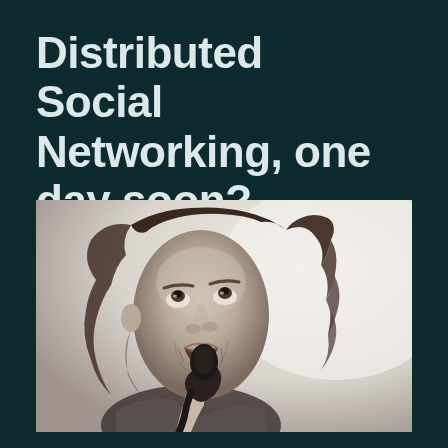Distributed Social Networking, one day soon?
[Figure (photo): Black and white photograph of a young man with long curly hair looking upward while speaking into a microphone, against a light background.]